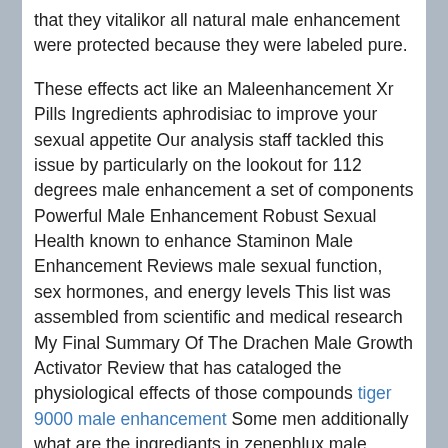that they vitalikor all natural male enhancement were protected because they were labeled pure.
These effects act like an Maleenhancement Xr Pills Ingredients aphrodisiac to improve your sexual appetite Our analysis staff tackled this issue by particularly on the lookout for 112 degrees male enhancement a set of components Powerful Male Enhancement Robust Sexual Health known to enhance Staminon Male Enhancement Reviews male sexual function, sex hormones, and energy levels This list was assembled from scientific and medical research My Final Summary Of The Drachen Male Growth Activator Review that has cataloged the physiological effects of those compounds tiger 9000 male enhancement Some men additionally what are the ingrediants in zenephlux male enhancement don t respond to male enhancement tablets these men could need to strive a prescription medication like